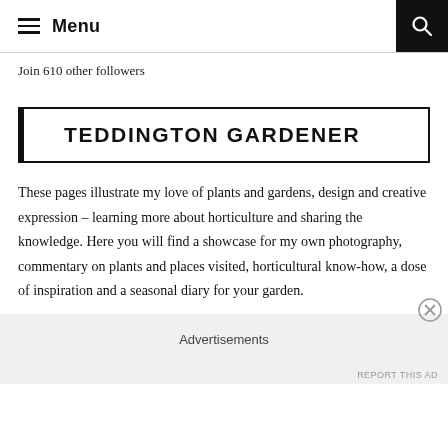Menu
Join 610 other followers
TEDDINGTON GARDENER
These pages illustrate my love of plants and gardens, design and creative expression – learning more about horticulture and sharing the knowledge. Here you will find a showcase for my own photography, commentary on plants and places visited, horticultural know-how, a dose of inspiration and a seasonal diary for your garden.
Advertisements